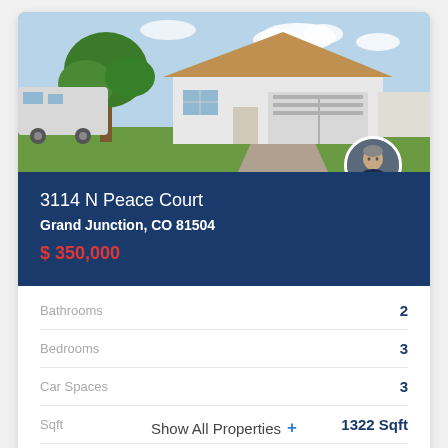[Figure (photo): Exterior photo of a single-story white house with a two-car garage, large tree on left, RV parked to the side, green lawn and blue sky]
3114 N Peace Court
Grand Junction, CO 81504
$ 350,000
| Property Feature | Value |
| --- | --- |
| Bathrooms | 2 |
| Bedrooms | 3 |
| Car Spaces | 3 |
| Sqft | 1322 Sqft |
| Acres | 0.24 |
Show All Properties +